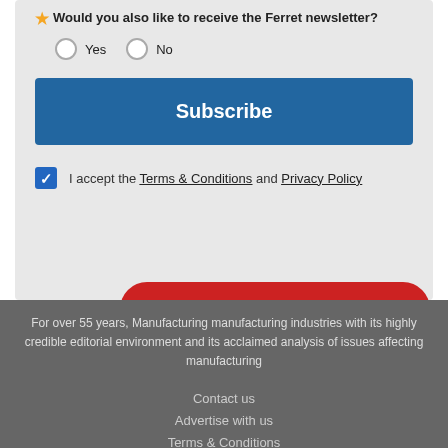Would you also like to receive the Ferret newsletter?
Yes / No radio options
Subscribe
I accept the Terms & Conditions and Privacy Policy
For over 55 years, Manufacturing industries with its highly credible editorial environment and its acclaimed analysis of issues affecting manufacturing
+ JOIN OUR NEWSLETTER
Contact us
Advertise with us
Terms & Conditions